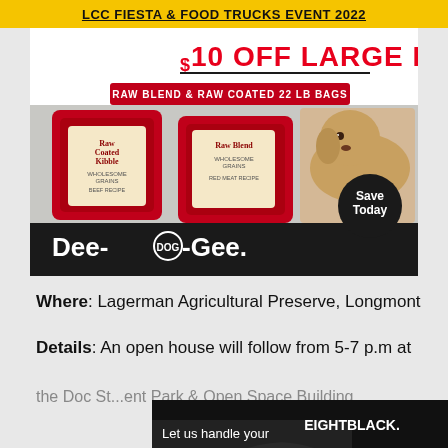LCC FIESTA & FOOD TRUCKS EVENT 2022
[Figure (photo): Dee-O-Gee advertisement showing dog food bags (Raw Coated Kibble and Raw Blend) with a dog, promoting $10 OFF Large Bags on Raw Blend & Raw Coated 22 LB Bags. Save Today.]
Where: Lagerman Agricultural Preserve, Longmont
Details: An open house will follow from 5-7 p.m at
the Doc St...ent Park & Open Space Building
[Figure (photo): EightBlack advertisement: Let us handle your transportaion needs. Book now. Shows a dark car.]